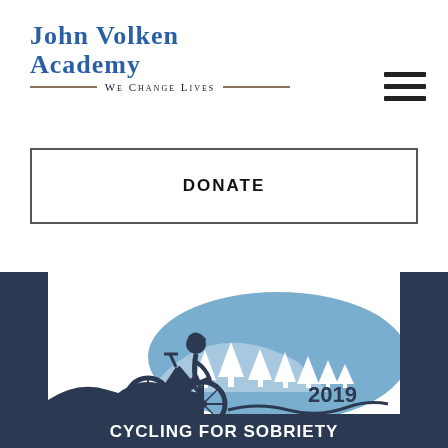[Figure (logo): John Volken Academy logo with tagline 'We Change Lives']
≡ (hamburger menu icon)
DONATE
[Figure (illustration): 2019 Cycling for Sobriety event banner with illustration of mountain biker on rocky terrain, mountains and trees in background, text reads '2019 CYCLING FOR SOBRIETY']